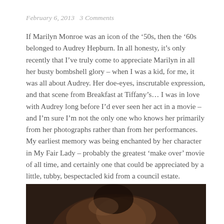February 6, 2013   3 Comments
If Marilyn Monroe was an icon of the ’50s, then the ’60s belonged to Audrey Hepburn. In all honesty, it’s only recently that I’ve truly come to appreciate Marilyn in all her busty bombshell glory – when I was a kid, for me, it was all about Audrey. Her doe-eyes, inscrutable expression, and that scene from Breakfast at Tiffany’s… I was in love with Audrey long before I’d ever seen her act in a movie – and I’m sure I’m not the only one who knows her primarily from her photographs rather than from her performances. My earliest memory was being enchanted by her character in My Fair Lady – probably the greatest ‘make over’ movie of all time, and certainly one that could be appreciated by a little, tubby, bespectacled kid from a council estate.
[Figure (photo): Top portion of a person's head showing dark hair, cropped at the top of the page bottom area.]